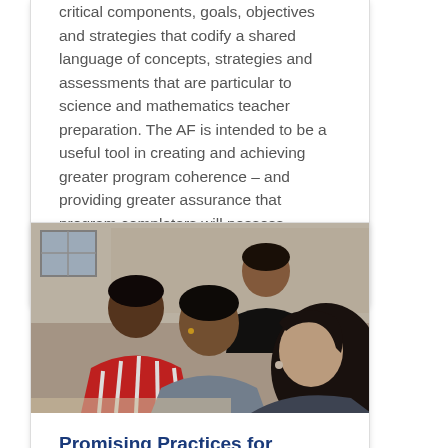critical components, goals, objectives and strategies that codify a shared language of concepts, strategies and assessments that are particular to science and mathematics teacher preparation. The AF is intended to be a useful tool in creating and achieving greater program coherence – and providing greater assurance that program completers will possess sufficient knowledge and skills to teach effectively.
[Figure (photo): Photograph of students in a classroom setting, appearing to listen attentively. Several students are visible including a young man in a striped red shirt, a young man in a gray shirt, and a young woman with dark hair in the foreground.]
Promising Practices for Science and Mathematics